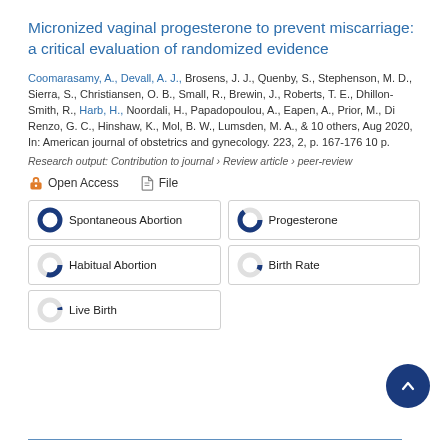Micronized vaginal progesterone to prevent miscarriage: a critical evaluation of randomized evidence
Coomarasamy, A., Devall, A. J., Brosens, J. J., Quenby, S., Stephenson, M. D., Sierra, S., Christiansen, O. B., Small, R., Brewin, J., Roberts, T. E., Dhillon-Smith, R., Harb, H., Noordali, H., Papadopoulou, A., Eapen, A., Prior, M., Di Renzo, G. C., Hinshaw, K., Mol, B. W., Lumsden, M. A., & 10 others, Aug 2020, In: American journal of obstetrics and gynecology. 223, 2, p. 167-176 10 p.
Research output: Contribution to journal › Review article › peer-review
Open Access   File
Spontaneous Abortion
Progesterone
Habitual Abortion
Birth Rate
Live Birth